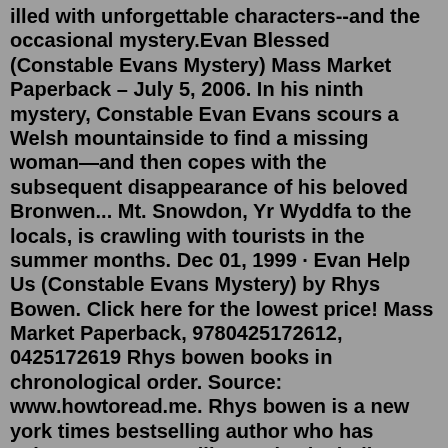illed with unforgettable characters--and the occasional mystery.Evan Blessed (Constable Evans Mystery) Mass Market Paperback – July 5, 2006. In his ninth mystery, Constable Evan Evans scours a Welsh mountainside to find a missing woman—and then copes with the subsequent disappearance of his beloved Bronwen... Mt. Snowdon, Yr Wyddfa to the locals, is crawling with tourists in the summer months. Dec 01, 1999 · Evan Help Us (Constable Evans Mystery) by Rhys Bowen. Click here for the lowest price! Mass Market Paperback, 9780425172612, 0425172619 Rhys bowen books in chronological order. Source: www.howtoread.me. Rhys bowen is a new york times bestselling author who has written many top selling series including constable evans, the molly murphy mysteries, and the royal spyness series. Be sure to check out the "molly murphy" series by rhys bowen as well. Source: quiere-vivir-mejor ...Constable Evans Series. 10 primary works • 10 total works. Take a trip to the mountains of North Wales with Rhys Bowen's Edgar